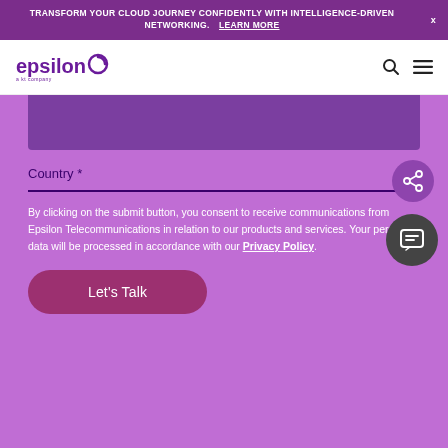TRANSFORM YOUR CLOUD JOURNEY CONFIDENTLY WITH INTELLIGENCE-DRIVEN NETWORKING. LEARN MORE
[Figure (logo): Epsilon logo - a kt company, purple text with stylized 'e' icon]
[Figure (photo): Purple content block/image area at top of form]
Country *
By clicking on the submit button, you consent to receive communications from Epsilon Telecommunications in relation to our products and services. Your personal data will be processed in accordance with our Privacy Policy.
Let's Talk